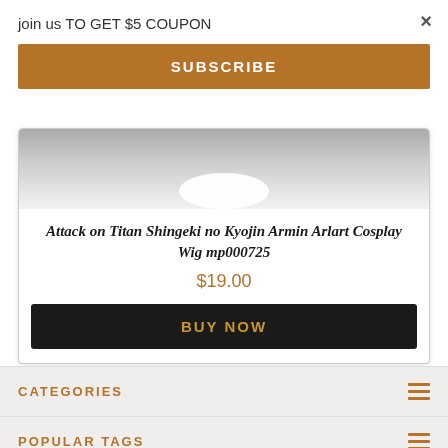join us TO GET $5 COUPON
×
SUBSCRIBE
[Figure (photo): Product image area showing a cosplay wig on a white head form against a gray background]
Attack on Titan Shingeki no Kyojin Armin Arlart Cosplay Wig mp000725
$19.00
BUY NOW
CATEGORIES
POPULAR TAGS